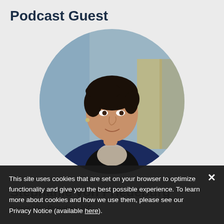Podcast Guest
[Figure (photo): Circular professional headshot of a woman with short dark hair wearing a navy blazer and patterned scarf, photographed against a blurred office background.]
Stephanie von Friedeburg
Senior Vice President, IFC
This site uses cookies that are set on your browser to optimize functionality and give you the best possible experience. To learn more about cookies and how we use them, please see our Privacy Notice (available here).